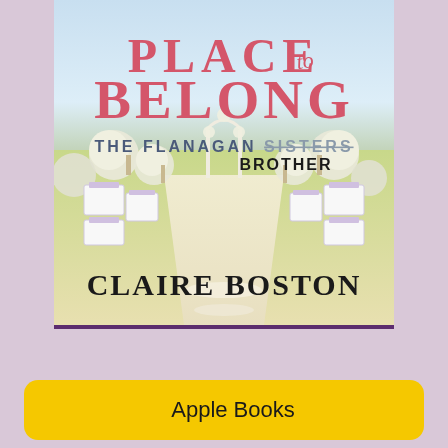[Figure (illustration): Book cover for 'Place to Belong' by Claire Boston. The Flanagan Sisters (Sisters crossed out, replaced with Brother). Features a wedding aisle scene with white floral decorations, chairs with purple sashes, and a white arch in the background. Pink serif title text at top, dark serif author name at bottom.]
Apple Books